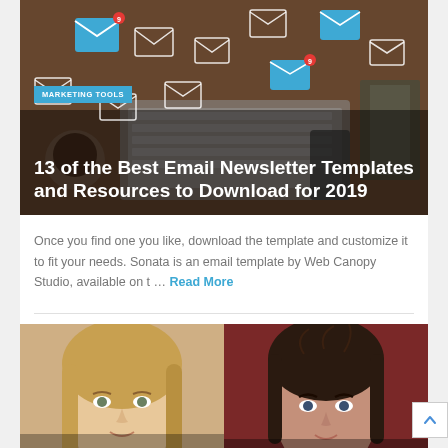[Figure (photo): Top-down view of a laptop with email envelope icons floating above it on a wooden desk, alongside a notebook and phone. Blue highlighted email icons with notification badges.]
13 of the Best Email Newsletter Templates and Resources to Download for 2019
Once you find one you like, download the template and customize it to fit your needs. Sonata is an email template by Web Canopy Studio, available on t … Read More
[Figure (photo): Side-by-side photos of two women's faces. Left: woman with long blonde hair looking forward. Right: woman with dark wet hair looking forward. Blue badge reading CONTENT MARKETING overlaid on left image.]